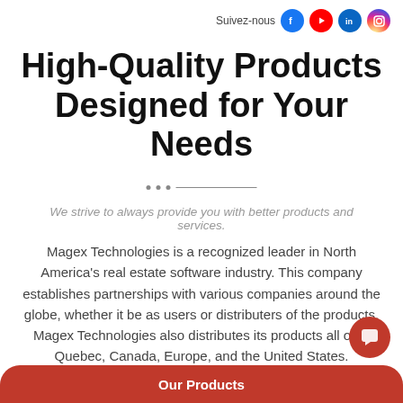Suivez-nous [social icons: Facebook, YouTube, LinkedIn, Instagram]
High-Quality Products Designed for Your Needs
We strive to always provide you with better products and services.
Magex Technologies is a recognized leader in North America's real estate software industry. This company establishes partnerships with various companies around the globe, whether it be as users or distributers of the products. Magex Technologies also distributes its products all over Quebec, Canada, Europe, and the United States.
Our Products